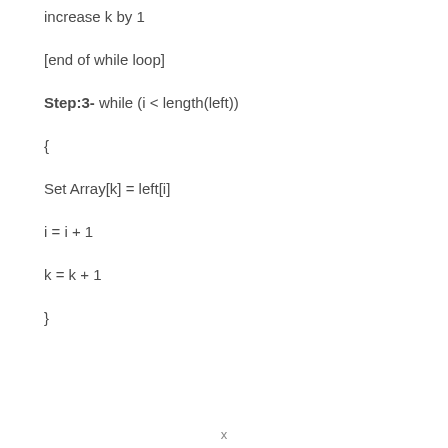increase k by 1
[end of while loop]
Step:3- while (i < length(left))
{
Set Array[k] = left[i]
i = i + 1
k = k + 1
}
x